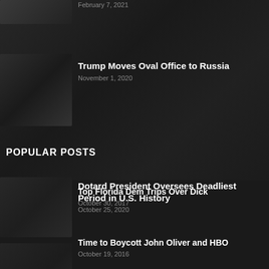February 7, 2021
Trump Moves Oval Office to Russia
November 1, 2020
Dotard President Oversees Deadliest Period in U.S. History
October 25, 2020
POPULAR POSTS
Top Florida Dem Trips Over Dick
October 30, 2017
Time to Boycott John Oliver and HBO
October 19, 2016